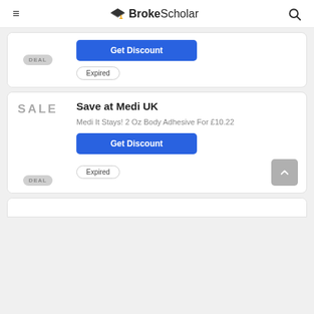BrokeScholar
Get Discount
Expired
Save at Medi UK
Medi It Stays! 2 Oz Body Adhesive For £10.22
Get Discount
Expired